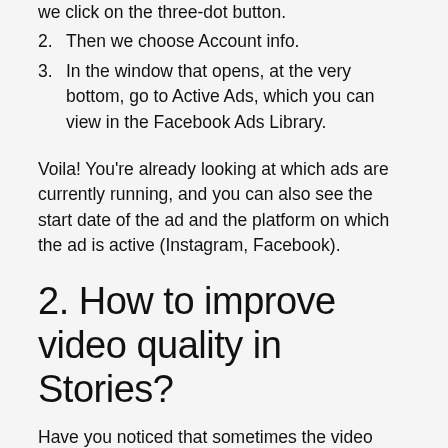we click on the three-dot button.
2. Then we choose Account info.
3. In the window that opens, at the very bottom, go to Active Ads, which you can view in the Facebook Ads Library.
Voila! You're already looking at which ads are currently running, and you can also see the start date of the ad and the platform on which the ad is active (Instagram, Facebook).
2. How to improve video quality in Stories?
Have you noticed that sometimes the video quality in Stories deteriorates a lot after uploading your files in the stories?